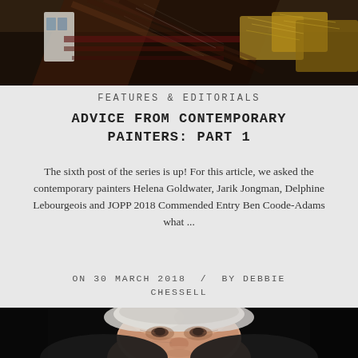[Figure (photo): A dark painting/artwork showing an interior scene with dramatic brushstrokes, earthy and golden tones]
FEATURES & EDITORIALS
ADVICE FROM CONTEMPORARY PAINTERS: PART 1
The sixth post of the series is up! For this article, we asked the contemporary painters Helena Goldwater, Jarik Jongman, Delphine Lebourgeois and JOPP 2018 Commended Entry Ben Coode-Adams what ...
ON 30 MARCH 2018  /  BY DEBBIE CHESSELL
[Figure (photo): Portrait of an elderly person with white hair against a dark background, looking slightly upward]